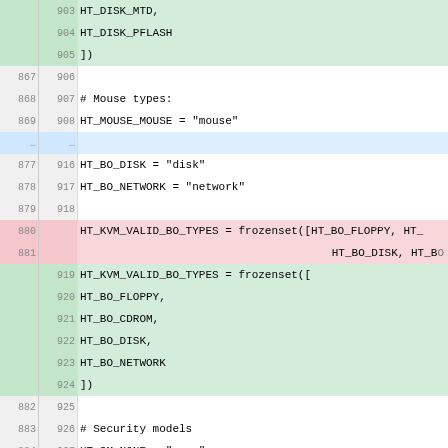[Figure (screenshot): Code diff view showing Python source file changes. Lines show old/new line numbers with color-coded additions (green), deletions (red), context (white/gray), and collapsed sections (blue dots). Code content includes disk type constants, mouse types, boot order types, and security model constants.]